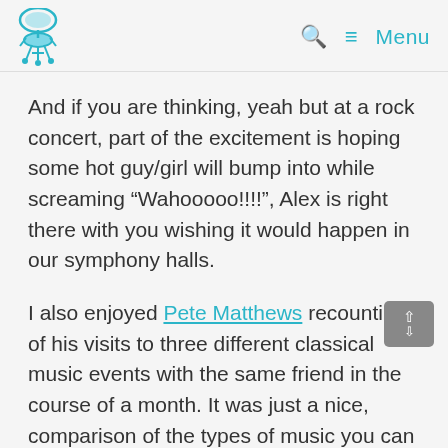Logo and navigation menu with search icon and Menu label
And if you are thinking, yeah but at a rock concert, part of the excitement is hoping some hot guy/girl will bump into while screaming “Wahooooo!!!!”, Alex is right there with you wishing it would happen in our symphony halls.
I also enjoyed Pete Matthews recounting of his visits to three different classical music events with the same friend in the course of a month. It was just a nice, comparison of the types of music you can hear and the sort of